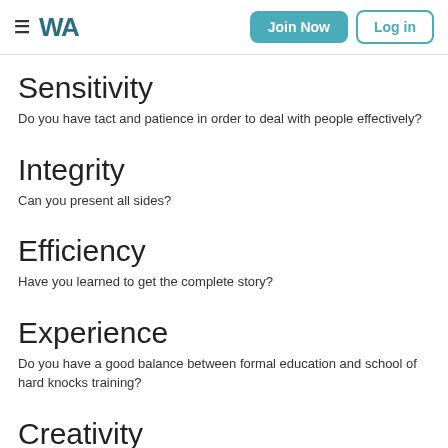≡ WA  Join Now  Log in
Sensitivity
Do you have tact and patience in order to deal with people effectively?
Integrity
Can you present all sides?
Efficiency
Have you learned to get the complete story?
Experience
Do you have a good balance between formal education and school of hard knocks training?
Creativity